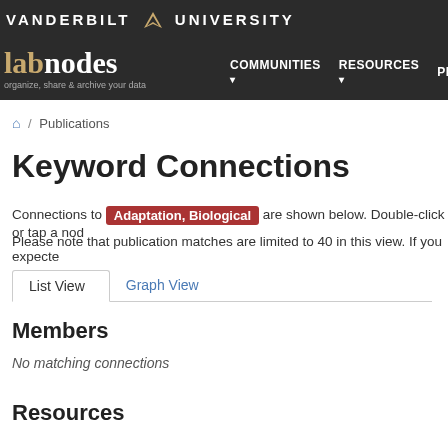VANDERBILT UNIVERSITY — labnodes — organize, share & archive your data — COMMUNITIES — RESOURCES — PEOPLE
Home / Publications
Keyword Connections
Connections to Adaptation, Biological are shown below. Double-click or tap a node
Please note that publication matches are limited to 40 in this view. If you expecte
List View   Graph View
Members
No matching connections
Resources